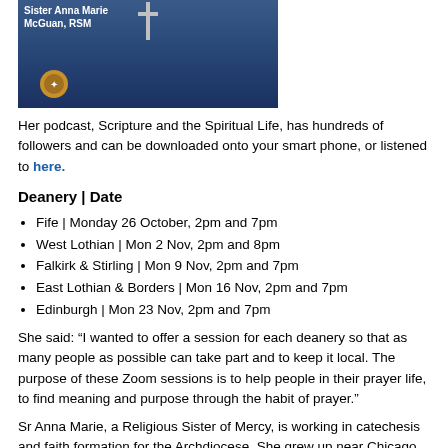[Figure (photo): Photo of Sister Anna Marie McGuan, RSM wearing a cross necklace against a dark blue background, with text overlay showing her name and title.]
Her podcast, Scripture and the Spiritual Life, has hundreds of followers and can be downloaded onto your smart phone, or listened to here.
Deanery | Date
Fife | Monday 26 October, 2pm and 7pm
West Lothian | Mon 2 Nov, 2pm and 8pm
Falkirk & Stirling | Mon 9 Nov, 2pm and 7pm
East Lothian & Borders | Mon 16 Nov, 2pm and 7pm
Edinburgh | Mon 23 Nov, 2pm and 7pm
She said: “I wanted to offer a session for each deanery so that as many people as possible can take part and to keep it local. The purpose of these Zoom sessions is to help people in their prayer life, to find meaning and purpose through the habit of prayer."
Sr Anna Marie, a Religious Sister of Mercy, is working in catechesis and faith formation for the Archdiocese. She grew up near Chicago and entered the religious life in 2003. She has a licentiate in Sacred Theology from the Pontifical Biblical Institute in Rome.